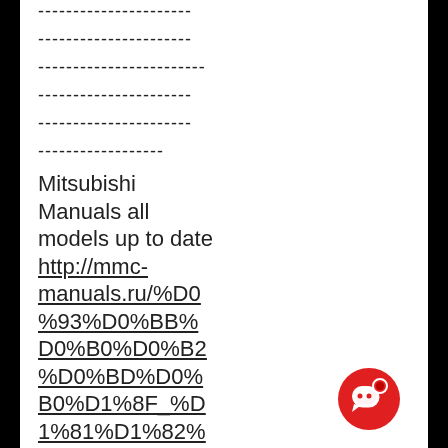----------------------
----------------------
------------------------
----------------------
----------------------
------------------
Mitsubishi Manuals all models up to date http://mmc-manuals.ru/%D0%93%D0%BB%D0%B0%D0%B2%D0%BD%D0%B0%D1%8F_%D1%81%D1%82%D1%80%D0%B0
[Figure (other): Red circular chat button icon]